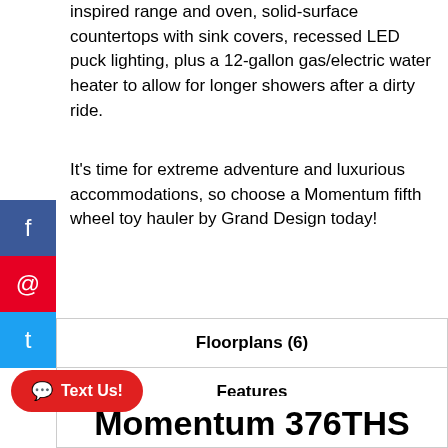inspired range and oven, solid-surface countertops with sink covers, recessed LED puck lighting, plus a 12-gallon gas/electric water heater to allow for longer showers after a dirty ride.
It's time for extreme adventure and luxurious accommodations, so choose a Momentum fifth wheel toy hauler by Grand Design today!
| Floorplans (6) |
| Features |
| Manu-Facts |
Momentum 376THS